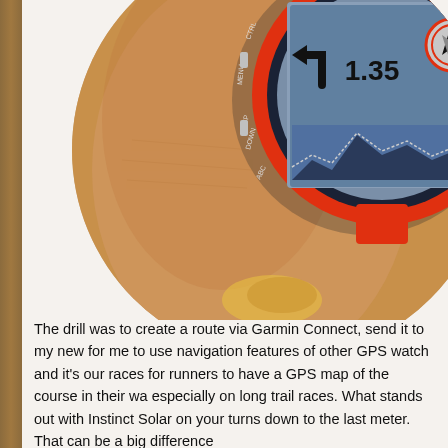[Figure (photo): Close-up photo of a person's wrist wearing a Garmin Instinct Solar GPS watch with a red/orange bezel. The watch face shows a navigation screen with a left turn arrow, the number 1.35, a compass/navigation icon, and a trail/terrain map profile at the bottom. The watch buttons are labeled CTRL, MENU, UP, DOWN, ABC. The watch has 'GARMIN' at the top and 'SOLAR' at the bottom of the bezel. The photo is displayed in a circular crop.]
The drill was to create a route via Garmin Connect, send it to my new for me to use navigation features of other GPS watch and it's our races for runners to have a GPS map of the course in their wa especially on long trail races. What stands out with Instinct Solar on your turns down to the last meter. That can be a big difference